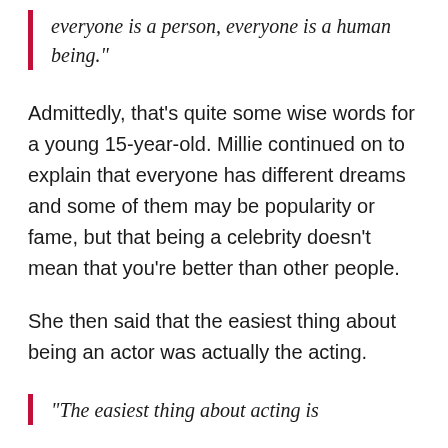everyone is a person, everyone is a human being."
Admittedly, that's quite some wise words for a young 15-year-old. Millie continued on to explain that everyone has different dreams and some of them may be popularity or fame, but that being a celebrity doesn't mean that you're better than other people.
She then said that the easiest thing about being an actor was actually the acting.
"The easiest thing about acting is